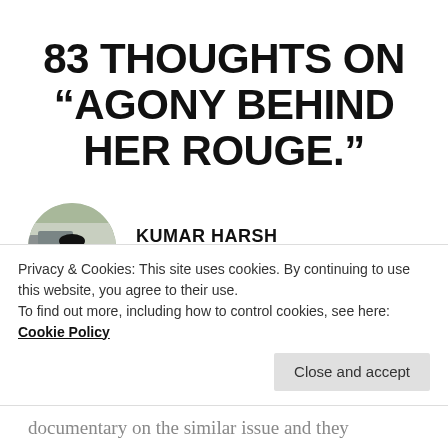83 THOUGHTS ON “AGONY BEHIND HER ROUGE.”
KUMAR HARSH
December 26, 2020 at 2:07 pm
This was such a powerful poem Hema. Years of
Privacy & Cookies: This site uses cookies. By continuing to use this website, you agree to their use.
To find out more, including how to control cookies, see here: Cookie Policy
documentary on the similar issue and they